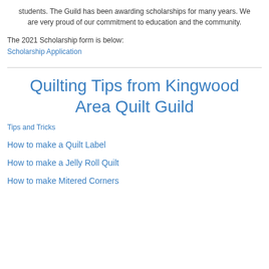students.  The Guild has been awarding scholarships for many years.  We are very proud of our commitment to education and the community.
The 2021 Scholarship form is below:
Scholarship Application
Quilting Tips from Kingwood Area Quilt Guild
Tips and Tricks
How to make a Quilt Label
How to make a Jelly Roll Quilt
How to make Mitered Corners